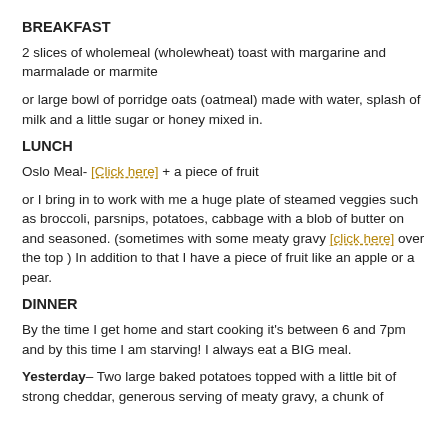BREAKFAST
2 slices of wholemeal (wholewheat) toast with margarine and marmalade or marmite
or large bowl of porridge oats (oatmeal) made with water, splash of milk and a little sugar or honey mixed in.
LUNCH
Oslo Meal- [Click here] + a piece of fruit
or I bring in to work with me a huge plate of steamed veggies such as broccoli, parsnips, potatoes, cabbage with a blob of butter on and seasoned. (sometimes with some meaty gravy [click here] over the top ) In addition to that I have a piece of fruit like an apple or a pear.
DINNER
By the time I get home and start cooking it's between 6 and 7pm and by this time I am starving! I always eat a BIG meal.
Yesterday– Two large baked potatoes topped with a little bit of strong cheddar, generous serving of meaty gravy, a chunk of